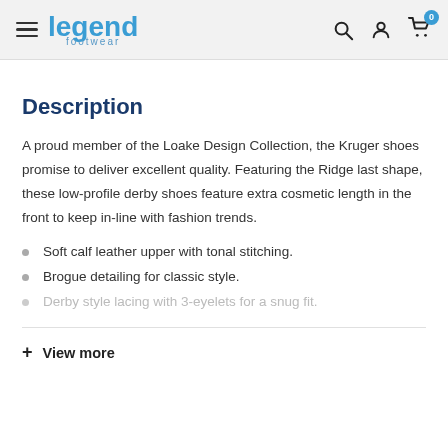legend footwear
Description
A proud member of the Loake Design Collection, the Kruger shoes promise to deliver excellent quality. Featuring the Ridge last shape, these low-profile derby shoes feature extra cosmetic length in the front to keep in-line with fashion trends.
Soft calf leather upper with tonal stitching.
Brogue detailing for classic style.
Derby style lacing with 3-eyelets for a snug fit.
+ View more